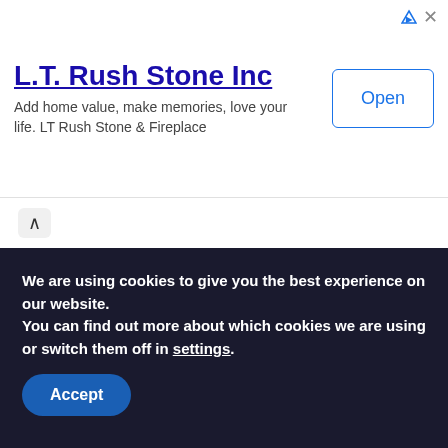[Figure (other): Advertisement banner for L.T. Rush Stone Inc with company name, tagline, and Open button]
'Godmother of Silicon Valley', Esther Wojcicki, as Chief Parenting Officer
AUGUST 25, 2022
We are using cookies to give you the best experience on our website.
You can find out more about which cookies we are using or switch them off in settings.